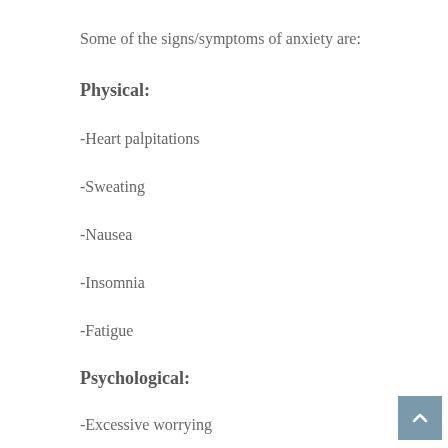Some of the signs/symptoms of anxiety are:
Physical:
-Heart palpitations
-Sweating
-Nausea
-Insomnia
-Fatigue
Psychological:
-Excessive worrying
-Unwanted thoughts